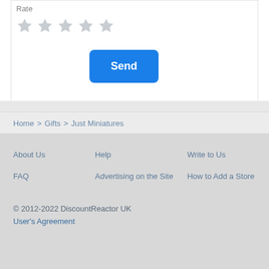Rate
[Figure (other): Five gray star icons for rating]
Send
Home > Gifts > Just Miniatures
About Us
Help
Write to Us
FAQ
Advertising on the Site
How to Add a Store
© 2012-2022 DiscountReactor UK
User's Agreement